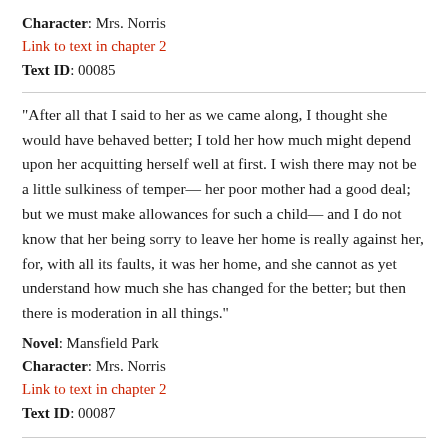Character: Mrs. Norris
Link to text in chapter 2
Text ID: 00085
"After all that I said to her as we came along, I thought she would have behaved better; I told her how much might depend upon her acquitting herself well at first. I wish there may not be a little sulkiness of temper— her poor mother had a good deal; but we must make allowances for such a child— and I do not know that her being sorry to leave her home is really against her, for, with all its faults, it was her home, and she cannot as yet understand how much she has changed for the better; but then there is moderation in all things."
Novel: Mansfield Park
Character: Mrs. Norris
Link to text in chapter 2
Text ID: 00087
"My dear,"
Novel: Mansfield Park
Character: Mrs. Norris